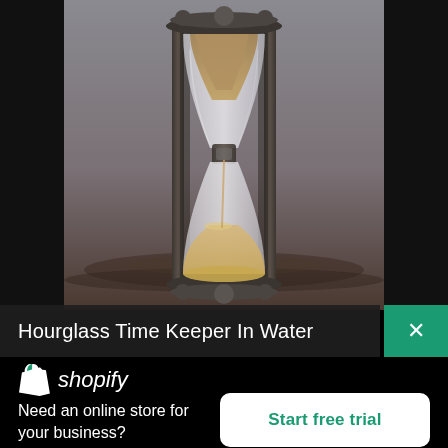[Figure (photo): An hourglass time keeper standing in water, with sand flowing through it, metallic frame, moody grey-brown background]
Hourglass Time Keeper In Water
[Figure (logo): Shopify logo with shopping bag icon and italic shopify text in white on teal background]
Need an online store for your business?
Start free trial